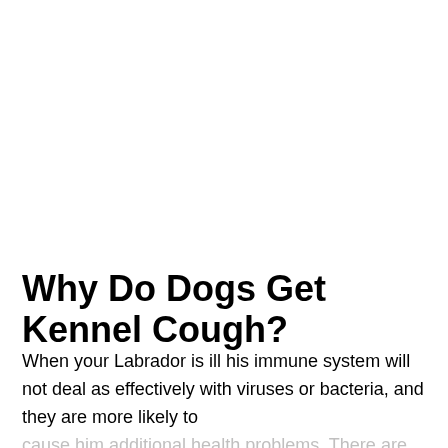Why Do Dogs Get Kennel Cough?
When your Labrador is ill his immune system will not deal as effectively with viruses or bacteria, and they are more likely to cause him additional health problems. There are also certain environmental factors which will increase the chances of your